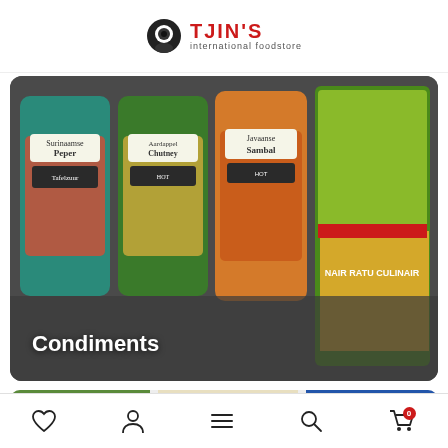TJIN'S international foodstore
[Figure (photo): Condiments category image showing jars of Surinaamse Peper Tafelzuur, Aardappel Chutney, Javaanse Sambal, and Nair Ratu Culinair products on a dark background]
Condiments
Please accept cookies to help us improve this website Is this OK?
Yes
No
More on cookies »
[Figure (photo): Partially visible second product card showing rice and other products at the bottom]
Bottom navigation bar with wishlist, account, menu, search, and cart icons